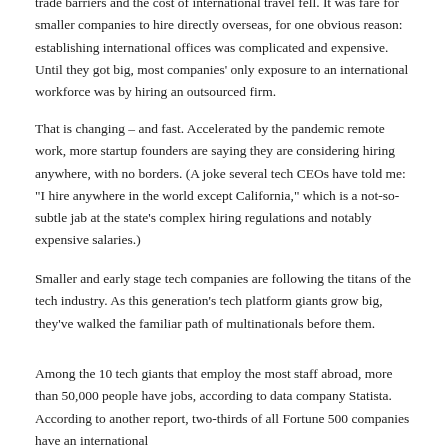trade barriers and the cost of international travel fell. It was fare for smaller companies to hire directly overseas, for one obvious reason: establishing international offices was complicated and expensive. Until they got big, most companies' only exposure to an international workforce was by hiring an outsourced firm.
That is changing – and fast. Accelerated by the pandemic remote work, more startup founders are saying they are considering hiring anywhere, with no borders. (A joke several tech CEOs have told me: "I hire anywhere in the world except California," which is a not-so-subtle jab at the state's complex hiring regulations and notably expensive salaries.)
Smaller and early stage tech companies are following the titans of the tech industry. As this generation's tech platform giants grow big, they've walked the familiar path of multinationals before them.
Among the 10 tech giants that employ the most staff abroad, more than 50,000 people have jobs, according to data company Statista. According to another report, two-thirds of all Fortune 500 companies have an international